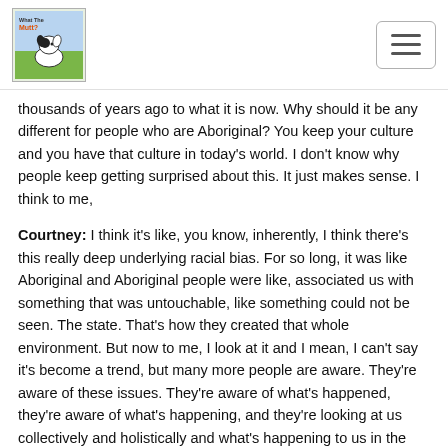What The Mutt? [logo with dog]
thousands of years ago to what it is now. Why should it be any different for people who are Aboriginal? You keep your culture and you have that culture in today's world. I don't know why people keep getting surprised about this. It just makes sense. I think to me,
Courtney: I think it's like, you know, inherently, I think there's this really deep underlying racial bias. For so long, it was like Aboriginal and Aboriginal people were like, associated us with something that was untouchable, like something could not be seen. The state. That's how they created that whole environment. But now to me, I look at it and I mean, I can't say it's become a trend, but many more people are aware. They're aware of these issues. They're aware of what's happened, they're aware of what's happening, and they're looking at us collectively and holistically and what's happening to us in the future and actually becoming really more aware of how important it is to maintain and strengthen the fundamental aspects of what we are as Aboriginal people before it becomes lost. Once you lose things, like when those pages from the book, when they're gone, it's gone forever. And if you